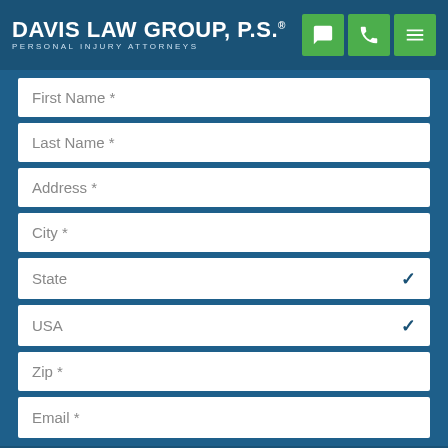Davis Law Group, P.S. — Personal Injury Attorneys
First Name *
Last Name *
Address *
City *
State
USA
Zip *
Email *